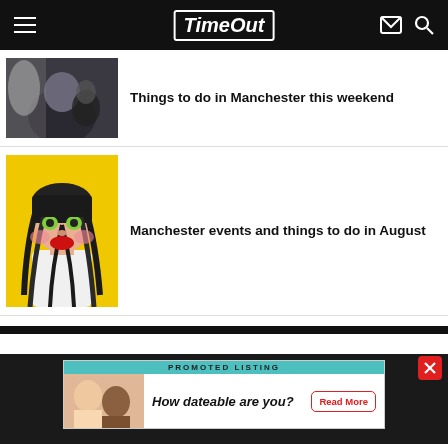Time Out
Things to do in Manchester this weekend
Manchester events and things to do in August
PROMOTED LISTING
How dateable are you?
Read More